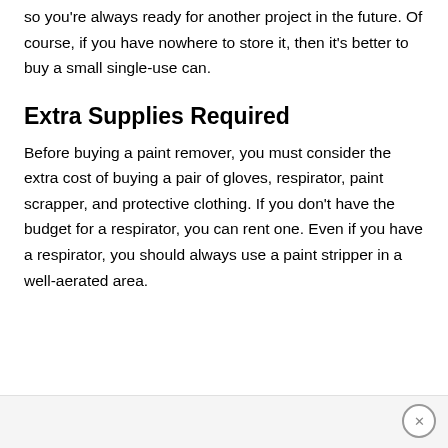so you're always ready for another project in the future. Of course, if you have nowhere to store it, then it's better to buy a small single-use can.
Extra Supplies Required
Before buying a paint remover, you must consider the extra cost of buying a pair of gloves, respirator, paint scrapper, and protective clothing. If you don't have the budget for a respirator, you can rent one. Even if you have a respirator, you should always use a paint stripper in a well-aerated area.